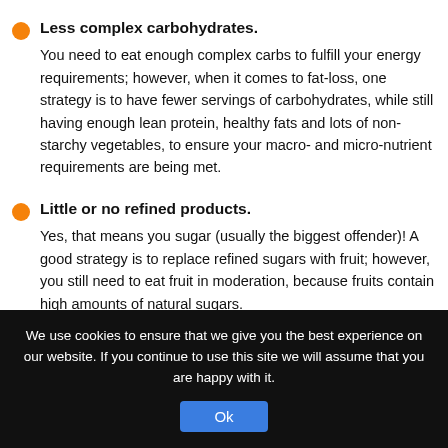Less complex carbohydrates. You need to eat enough complex carbs to fulfill your energy requirements; however, when it comes to fat-loss, one strategy is to have fewer servings of carbohydrates, while still having enough lean protein, healthy fats and lots of non-starchy vegetables, to ensure your macro- and micro-nutrient requirements are being met.
Little or no refined products. Yes, that means you sugar (usually the biggest offender)! A good strategy is to replace refined sugars with fruit; however, you still need to eat fruit in moderation, because fruits contain high amounts of natural sugars.
We use cookies to ensure that we give you the best experience on our website. If you continue to use this site we will assume that you are happy with it.